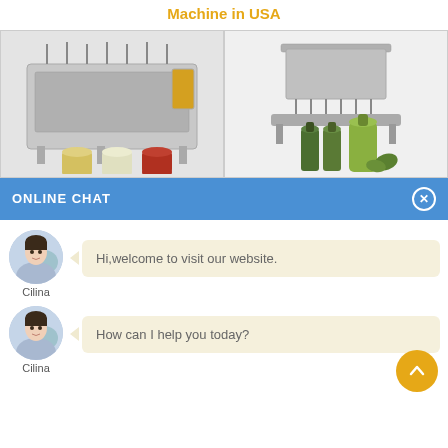Machine in USA
[Figure (photo): Left: industrial liquid filling machine with multiple nozzles, with jars below. Right: another filling machine with olive oil bottles below.]
ONLINE CHAT
[Figure (illustration): Avatar photo of Cilina, a woman in light blue shirt]
Hi,welcome to visit our website.
Cilina
[Figure (illustration): Avatar photo of Cilina, a woman in light blue shirt]
How can I help you today?
Cilina